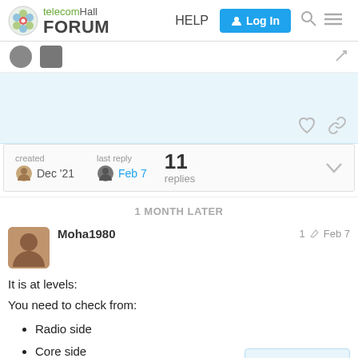telecomHall FORUM | HELP | Log In
created Dec '21   last reply Feb 7   11 replies
1 MONTH LATER
Moha1980   1 edit   Feb 7
It is at levels:
You need to check from:
Radio side
Core side
Tx Side
1 / 12